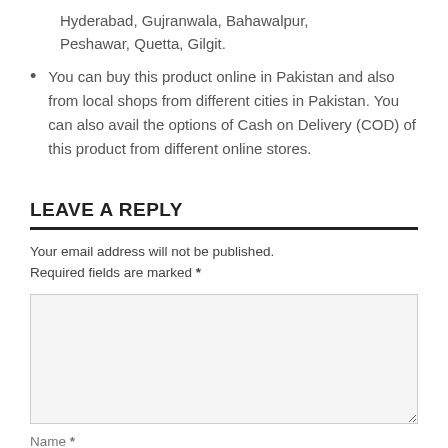Hyderabad, Gujranwala, Bahawalpur, Peshawar, Quetta, Gilgit.
You can buy this product online in Pakistan and also from local shops from different cities in Pakistan. You can also avail the options of Cash on Delivery (COD) of this product from different online stores.
LEAVE A REPLY
Your email address will not be published. Required fields are marked *
[comment textarea]
Name *